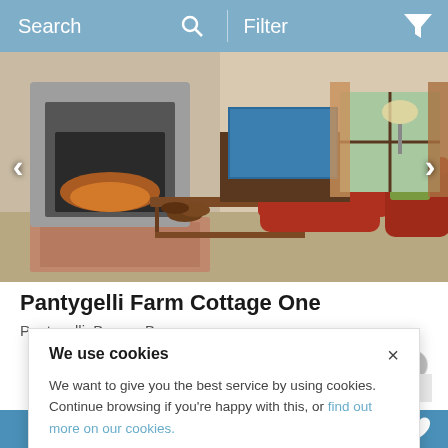Search   Filter
[Figure (photo): Interior photo of a cottage living room with a log burning stove/fireplace on the left, a wooden coffee table in the center, and two red armchairs. A TV is visible on a wooden cabinet, and there are plaid curtains on the window.]
Pantygelli Farm Cottage One
Pantygelli, Brecon Beacons
We use cookies
We want to give you the best service by using cookies. Continue browsing if you're happy with this, or find out more on our cookies.
5-£862